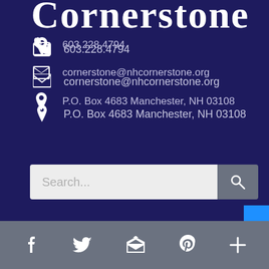Cornerstone
603.228.4794
cornerstone@nhcornerstone.org
P.O. Box 4683 Manchester, NH 03108
[Figure (screenshot): Search bar with placeholder text 'Search...' and a search button]
About
[Figure (infographic): Bottom navigation bar with social media icons: Facebook, Twitter, envelope/email, Pinterest, and a plus button]